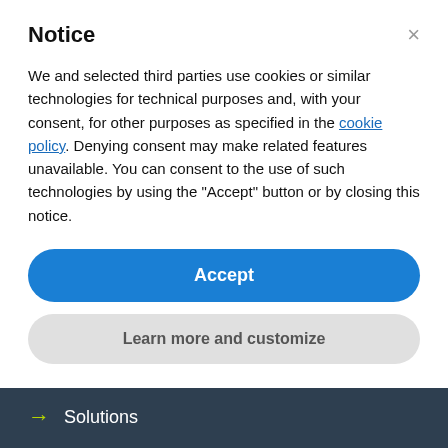Notice
We and selected third parties use cookies or similar technologies for technical purposes and, with your consent, for other purposes as specified in the cookie policy. Denying consent may make related features unavailable. You can consent to the use of such technologies by using the "Accept" button or by closing this notice.
Accept
Learn more and customize
[Figure (logo): Company logo with blue and green swoosh marks on dark background]
→  Solutions